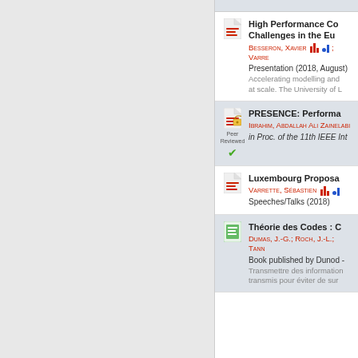High Performance Co... Challenges in the Eu... — Besseron, Xavier; Varre... — Presentation (2018, August) — Accelerating modelling and ... at scale. The University of L...
PRESENCE: Performa... — Ibrahim, Abdallah Ali Zainelabi... — in Proc. of the 11th IEEE Int... [Peer Reviewed]
Luxembourg Proposa... — Varrette, Sébastien — Speeches/Talks (2018)
Théorie des Codes : C... — Dumas, J.-G.; Roch, J.-L.; Tann... — Book published by Dunod - — Transmettre des information... transmis pour éviter de sur...